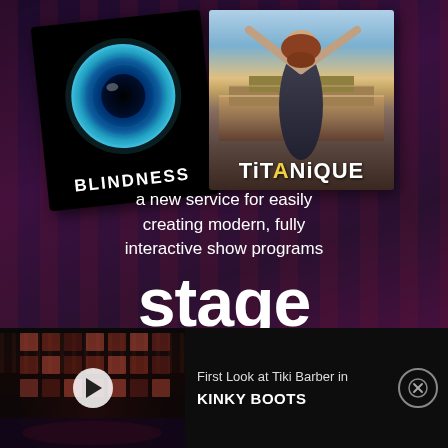[Figure (illustration): Advertisement for StageMag service showing two theatrical show posters (BLINDNESS and TiTANiQUE) above promotional text]
a new service for easily creating modern, fully interactive show programs
stage
mag
[Figure (screenshot): Video thumbnail showing a darkened theatrical stage with red lighting]
First Look at Tiki Barber in KINKY BOOTS